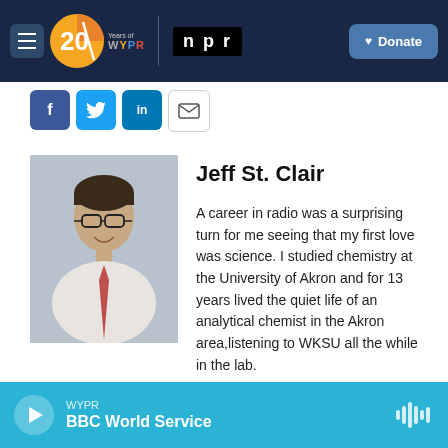[Figure (screenshot): WYPR 20 Years navigation bar with hamburger menu, 20 Years of WYPR logo, NPR logo, and Donate button on dark navy background]
[Figure (other): Social sharing icons: Facebook (blue), Twitter (blue), LinkedIn (blue), Email (white/gray)]
[Figure (photo): Headshot photo of Jeff St. Clair, a man with dark hair, glasses, wearing a white shirt and red tie, smiling]
Jeff St. Clair
A career in radio was a surprising turn for me seeing that my first love was science. I studied chemistry at the University of Akron and for 13 years lived the quiet life of an analytical chemist in the Akron area,listening to WKSU all the while in the lab.
[Figure (other): WYPR audio player bar showing BBC World Service with play button and sound wave icon on cyan/teal background]